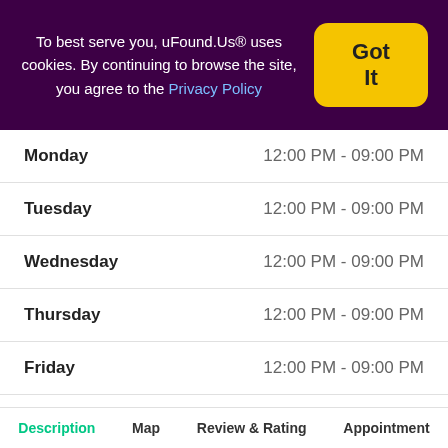To best serve you, uFound.Us® uses cookies. By continuing to browse the site, you agree to the Privacy Policy
| Day | Hours |
| --- | --- |
| Monday | 12:00 PM - 09:00 PM |
| Tuesday | 12:00 PM - 09:00 PM |
| Wednesday | 12:00 PM - 09:00 PM |
| Thursday | 12:00 PM - 09:00 PM |
| Friday | 12:00 PM - 09:00 PM |
| Saturday | Closed |
| Sunday | Closed |
Description  Map  Review & Rating  Appointment